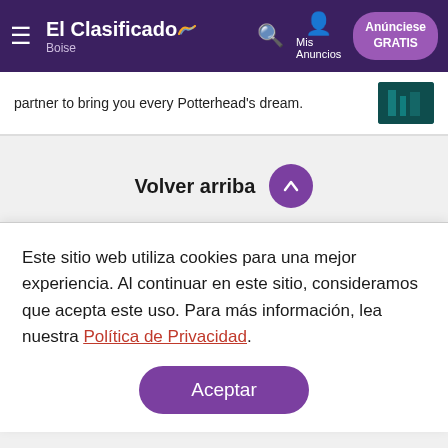ElClasificado Boise — navigation bar with search, Mis Anuncios, Anúnciese GRATIS
partner to bring you every Potterhead's dream.
Volver arriba
Este sitio web utiliza cookies para una mejor experiencia. Al continuar en este sitio, consideramos que acepta este uso. Para más información, lea nuestra Política de Privacidad.
Aceptar